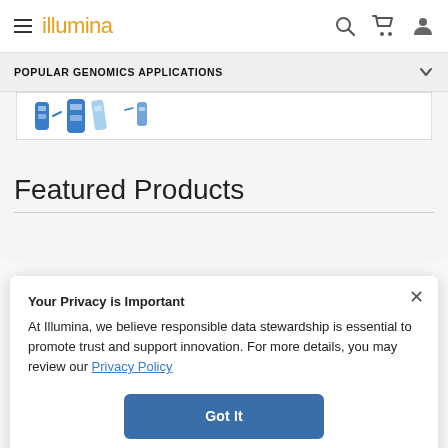illumina
POPULAR GENOMICS APPLICATIONS
[Figure (illustration): Partial view of blue DNA/genomics illustration icons on white background]
Featured Products
Your Privacy is Important
At Illumina, we believe responsible data stewardship is essential to promote trust and support innovation. For more details, you may review our Privacy Policy
Got It